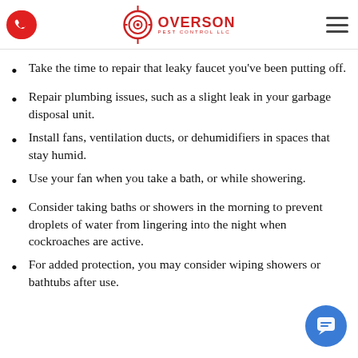Overson Pest Control LLC
Take the time to repair that leaky faucet you've been putting off.
Repair plumbing issues, such as a slight leak in your garbage disposal unit.
Install fans, ventilation ducts, or dehumidifiers in spaces that stay humid.
Use your fan when you take a bath, or while showering.
Consider taking baths or showers in the morning to prevent droplets of water from lingering into the night when cockroaches are active.
For added protection, you may consider wiping showers or bathtubs after use.